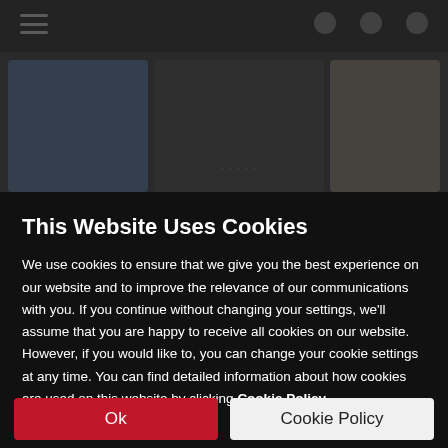[Figure (screenshot): Blurred website background showing a dark top navigation bar with a menu icon on the left and icons (globe, person, phone) on the right, and content panels below including a blue panel on the left, a dark center panel, and a beige panel on the right.]
This Website Uses Cookies
We use cookies to ensure that we give you the best experience on our website and to improve the relevance of our communications with you. If you continue without changing your settings, we'll assume that you are happy to receive all cookies on our website. However, if you would like to, you can change your cookie settings at any time. You can find detailed information about how cookies are used on this website by clicking Cookie Policy.